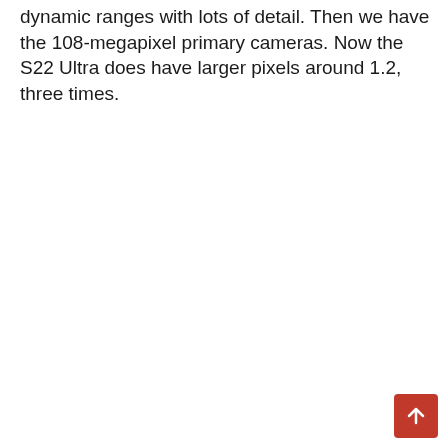dynamic ranges with lots of detail. Then we have the 108-megapixel primary cameras. Now the S22 Ultra does have larger pixels around 1.2, three times.
[Figure (other): A red square button with a white upward-pointing arrow icon, positioned in the bottom-right corner of the page.]